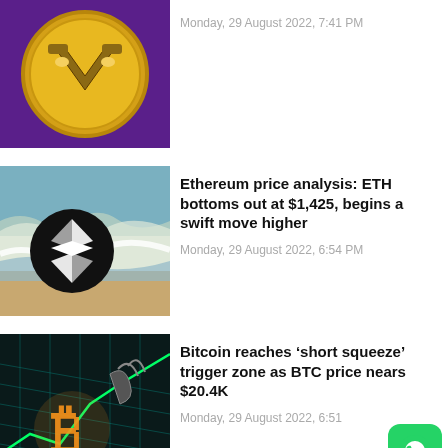[Figure (photo): Gold coin with V/checkmark logo on purple background (VeChain or similar crypto coin)]
Monday, 29 August 2022, 7:41 PM
[Figure (photo): Ethereum logo (black circle with white diamond/ETH symbol) overlaid on aerial ocean beach wave photo]
Ethereum price analysis: ETH bottoms out at $1,425, begins a swift move higher
Monday, 29 August 2022, 6:54 PM
[Figure (photo): Bitcoin logo with bear/bull digital art on dark teal grid background]
Bitcoin reaches ‘short squeeze’ trigger zone as BTC price nears $20.4K
Monday, 29 August 2022, 6:51